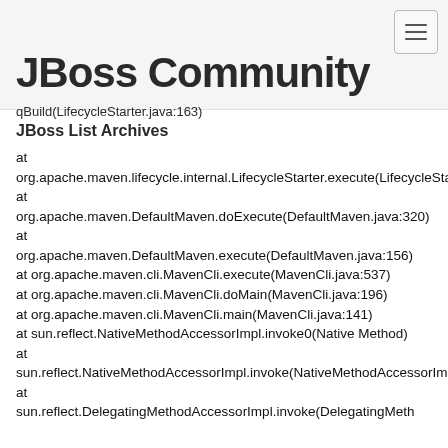JBoss Community
qBuild(LifecycleStarter.java:163)
JBoss List Archives
at
org.apache.maven.lifecycle.internal.LifecycleStarter.execute(LifecycleStarter.java:161)
at
org.apache.maven.DefaultMaven.doExecute(DefaultMaven.java:320)
at
org.apache.maven.DefaultMaven.execute(DefaultMaven.java:156)
at org.apache.maven.cli.MavenCli.execute(MavenCli.java:537)
at org.apache.maven.cli.MavenCli.doMain(MavenCli.java:196)
at org.apache.maven.cli.MavenCli.main(MavenCli.java:141)
at sun.reflect.NativeMethodAccessorImpl.invoke0(Native Method)
at
sun.reflect.NativeMethodAccessorImpl.invoke(NativeMethodAccessorImpl.java:39)
at
sun.reflect.DelegatingMethodAccessorImpl.invoke(DelegatingMeth